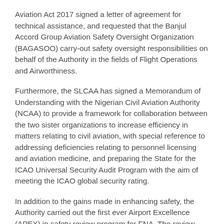Aviation Act 2017 signed a letter of agreement for technical assistance, and requested that the Banjul Accord Group Aviation Safety Oversight Organization (BAGASOO) carry-out safety oversight responsibilities on behalf of the Authority in the fields of Flight Operations and Airworthiness.
Furthermore, the SLCAA has signed a Memorandum of Understanding with the Nigerian Civil Aviation Authority (NCAA) to provide a framework for collaboration between the two sister organizations to increase efficiency in matters relating to civil aviation, with special reference to addressing deficiencies relating to personnel licensing and aviation medicine, and preparing the State for the ICAO Universal Security Audit Program with the aim of meeting the ICAO global security rating.
In addition to the gains made in enhancing safety, the Authority carried out the first ever Airport Excellence (APEX) in safety review program for FNA. The review came as a result of the Director General's engagement with the Airport Council International (ACI) on the State's commitment to enhancing global airport safety to match up with the Abuja Safety Target.